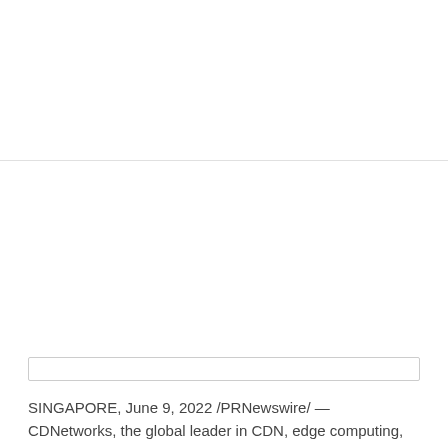SINGAPORE, June 9, 2022 /PRNewswire/ — CDNetworks, the global leader in CDN, edge computing, and cloud security, announced today its new Zero Trust Access Solution: Enterprise Secure Access (ESA).